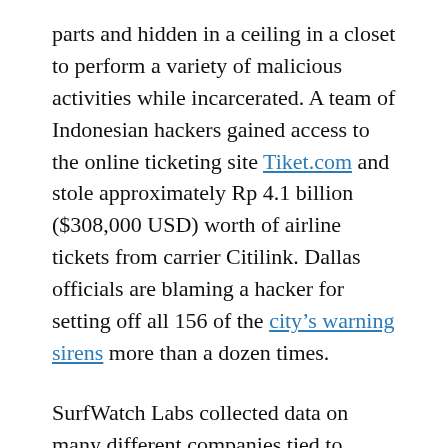parts and hidden in a ceiling in a closet to perform a variety of malicious activities while incarcerated. A team of Indonesian hackers gained access to the online ticketing site Tiket.com and stole approximately Rp 4.1 billion ($308,000 USD) worth of airline tickets from carrier Citilink. Dallas officials are blaming a hacker for setting off all 156 of the city's warning sirens more than a dozen times.
SurfWatch Labs collected data on many different companies tied to cybercrime over the past week. Some of those “newly seen” targets, meaning they either appeared in SurfWatch Labs’ data for the first time or else reappeared